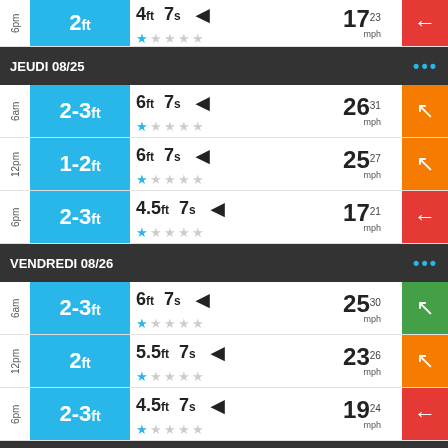| Time | Wave Height | Wave Ht | Period | Direction | Wind Speed | Wind Dir |
| --- | --- | --- | --- | --- | --- | --- |
| 6pm | 2ft | 4ft | 7s | ◄ | 17 23mph | ← |
| 6am (JEUDI) | 2-3ft | 6ft | 7s | ◄ | 26 31mph | ↖ |
| 12pm (JEUDI) | 1-2ft | 6ft | 7s | ◄ | 25 27mph | ↖ |
| 6pm (JEUDI) | 2-3ft | 4.5ft | 7s | ◄ | 17 21mph | ← |
| 6am (VENDREDI) | 2-3ft | 6ft | 7s | ◄ | 25 30mph | ↖ |
| 12pm (VENDREDI) | 2ft | 5.5ft | 7s | ◄ | 23 26mph | ↖ |
| 6pm (VENDREDI) | 2-3ft | 4.5ft | 7s | ◄ | 19 24mph | ← |
JEUDI 08/25
VENDREDI 08/26
SAMEDI 08/27